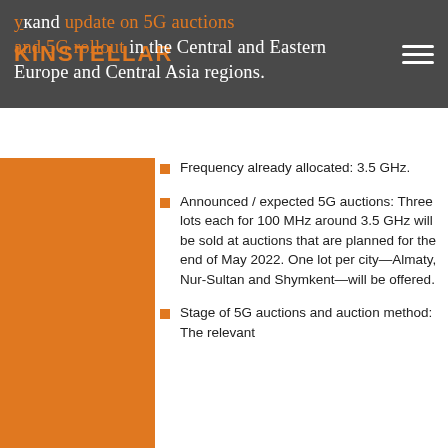KINSTELLAR
update on 5G auctions and 5G rollout in the Central and Eastern Europe and Central Asia regions.
Frequency already allocated: 3.5 GHz.
Announced / expected 5G auctions: Three lots each for 100 MHz around 3.5 GHz will be sold at auctions that are planned for the end of May 2022. One lot per city—Almaty, Nur-Sultan and Shymkent—will be offered.
Stage of 5G auctions and auction method: The relevant